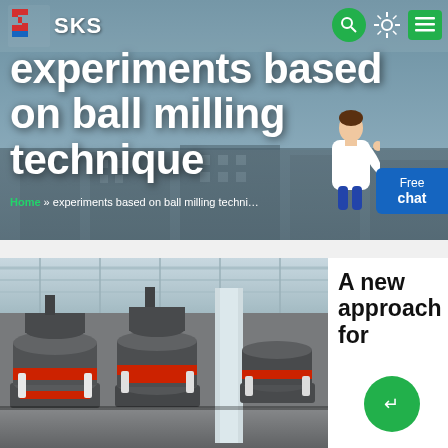[Figure (screenshot): SKS website header banner showing industrial building background with navigation bar containing SKS logo, search icon, settings/sun icon, and green menu icon. Page title 'experiments based on ball milling technique' in large white bold text. Breadcrumb navigation: Home » experiments based on ball milling technique. Female assistant figure and blue 'Free chat' widget on the right.]
experiments based on ball milling technique
Home » experiments based on ball milling technique
[Figure (photo): Industrial ball milling machines in a factory/warehouse setting. Multiple large cylindrical grinding mill machines with red and grey components, shown in a large industrial hall with metal roof structure.]
A new approach for